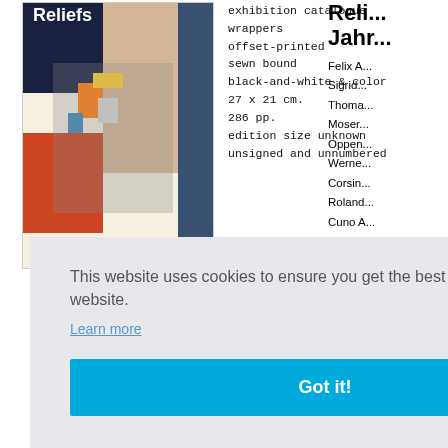[Figure (illustration): Book cover of 'Reliefs' exhibition catalogue showing abstract geometric artwork with colored shapes]
exhibition catalogue
wrappers
offset-printed
sewn bound
black-and-white & color
27 x 21 cm.
286 pp.
edition size unknown
unsigned and unnumbered
Reli...
Jahr...
Felix A...
Sigrid...
Thoma...
Moser...
Oppen...
Werne...
Corsin...
Roland...
Cuno A...
Hans A...
Baump...
Alexa...
Christe...
César...
Dan F...
Gaugi...
Augus...
Jasper...
Käthe...
Léger,...
Lunds...
This website uses cookies to ensure you get the best experience on our website.
Learn more
Got it!